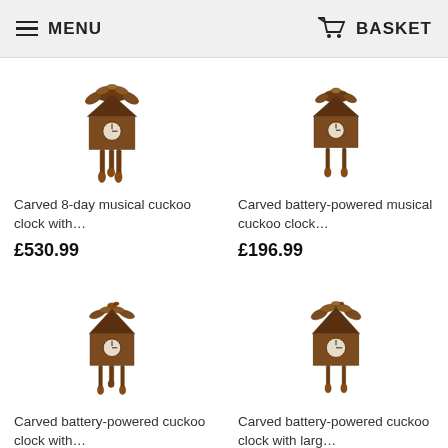MENU   BASKET
[Figure (photo): Carved cuckoo clock with decorative leaves, top view, brown wood]
Carved 8-day musical cuckoo clock with…
£530.99
[Figure (photo): Carved battery-powered musical cuckoo clock, brown wood]
Carved battery-powered musical cuckoo clock…
£196.99
[Figure (photo): Carved battery-powered cuckoo clock with weights and pendulum, brown wood]
Carved battery-powered cuckoo clock with…
£142.99
[Figure (photo): Carved battery-powered cuckoo clock with large decorative elements, brown wood]
Carved battery-powered cuckoo clock with larg…
£245.99